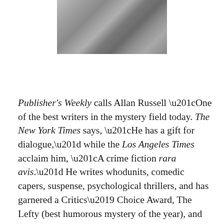[Figure (photo): Black and white photograph showing the lower portion of a person's face and neck area, wearing a denim or casual jacket, cropped at the top.]
Publisher's Weekly calls Allan Russell “One of the best writers in the mystery field today. The New York Times says, “He has a gift for dialogue,” while the Los Angeles Times acclaim him, “A crime fiction rara avis.” He writes whodunits, comedic capers, suspense, psychological thrillers, and has garnered a Critics’ Choice Award, The Lefty (best humorous mystery of the year), and two San Diego Book Awards.